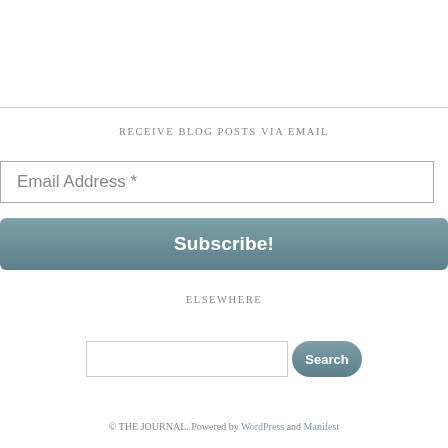RECEIVE BLOG POSTS VIA EMAIL
Email Address *
Subscribe!
ELSEWHERE
Search
© THE JOURNAL. Powered by WordPress and Manifest